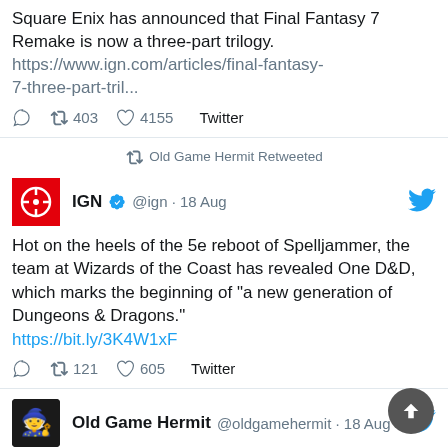Square Enix has announced that Final Fantasy 7 Remake is now a three-part trilogy. https://www.ign.com/articles/final-fantasy-7-three-part-tril...
403 retweets · 4155 likes · Twitter
Old Game Hermit Retweeted
IGN @ign · 18 Aug
Hot on the heels of the 5e reboot of Spelljammer, the team at Wizards of the Coast has revealed One D&D, which marks the beginning of "a new generation of Dungeons & Dragons." https://bit.ly/3K4W1xF
121 retweets · 605 likes · Twitter
Old Game Hermit @oldgamehermit · 18 Aug